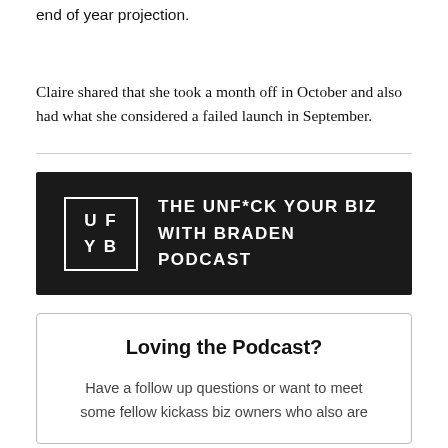end of year projection.
Claire shared that she took a month off in October and also had what she considered a failed launch in September.
[Figure (logo): The UNF*CK YOUR BIZ WITH BRADEN PODCAST banner logo — dark background with UFYB letters in a box on the left and podcast title text on the right]
Loving the Podcast?
Have a follow up questions or want to meet some fellow kickass biz owners who also are